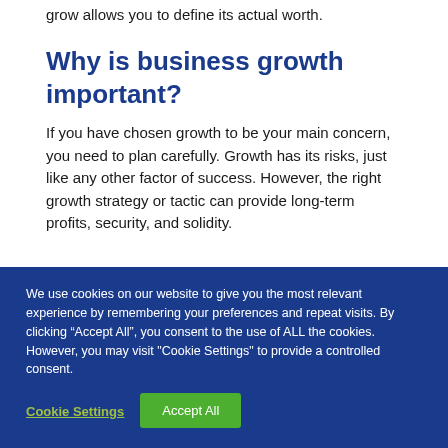grow allows you to define its actual worth.
Why is business growth important?
If you have chosen growth to be your main concern, you need to plan carefully. Growth has its risks, just like any other factor of success. However, the right growth strategy or tactic can provide long-term profits, security, and solidity.
We use cookies on our website to give you the most relevant experience by remembering your preferences and repeat visits. By clicking “Accept All”, you consent to the use of ALL the cookies. However, you may visit "Cookie Settings" to provide a controlled consent.
Cookie Settings
Accept All